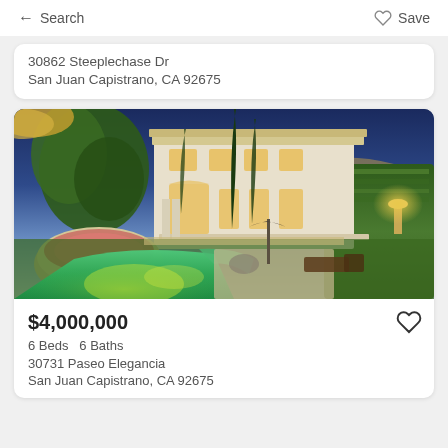← Search  ♡ Save
30862 Steeplechase Dr
San Juan Capistrano, CA 92675
[Figure (photo): Luxury estate at dusk with illuminated pool, Italian-style mansion, cypress trees, and hillside backdrop]
$4,000,000
6 Beds  6 Baths
30731 Paseo Elegancia
San Juan Capistrano, CA 92675